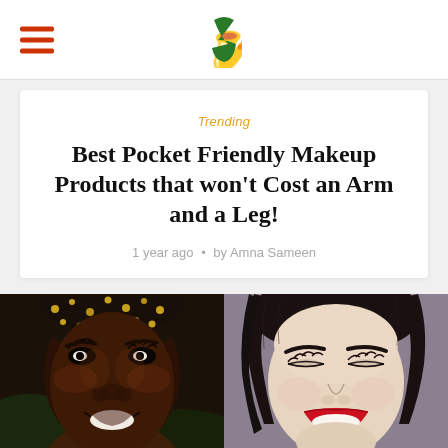Navigation header with hamburger menu and site logo
Trending
Best Pocket Friendly Makeup Products that won't Cost an Arm and a Leg!
1 year ago • by Amna Sameen
[Figure (photo): Two women smiling side by side: left is a dark-skinned woman wearing a golden patterned headwrap, smiling joyfully; right is a light-skinned woman with dark hair, wearing red lipstick, smiling with eyes squinted.]